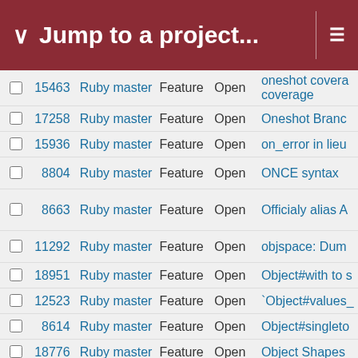Jump to a project...
|  | # | Project | Tracker | Status | Subject |
| --- | --- | --- | --- | --- | --- |
|  | 15463 | Ruby master | Feature | Open | oneshot covera coverage |
|  | 17258 | Ruby master | Feature | Open | Oneshot Branc |
|  | 15936 | Ruby master | Feature | Open | on_error in lieu |
|  | 8804 | Ruby master | Feature | Open | ONCE syntax |
|  | 8663 | Ruby master | Feature | Open | Officialy alias A |
|  | 11292 | Ruby master | Feature | Open | objspace: Dum |
|  | 18951 | Ruby master | Feature | Open | Object#with to s |
|  | 12523 | Ruby master | Feature | Open | `Object#values_ |
|  | 8614 | Ruby master | Feature | Open | Object#singleto |
|  | 18776 | Ruby master | Feature | Open | Object Shapes |
|  | 6758 | Ruby master | Feature | Open | Object#sequen |
|  | 18573 | Ruby master | Feature | Open | Object#pack1 |
|  | 16374 | Ruby master | Feature | Open | Object#nullify to Enumerable#re |